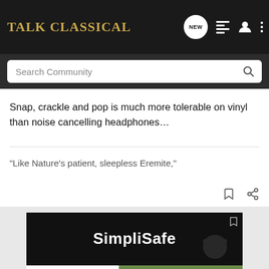Talk Classical
Snap, crackle and pop is much more tolerable on vinyl than noise cancelling headphones…
“Like Nature’s patient, sleepless Eremite,”
[Figure (screenshot): Advertisement for SimpliSafe home security]
[Figure (screenshot): Advertisement for UNICEF showing children]